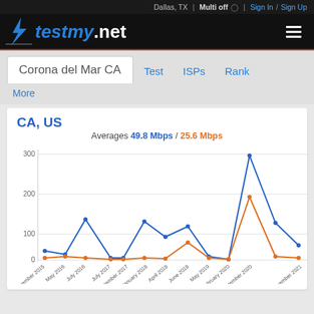Dallas, TX | Multi off | Sign In / Sign Up
[Figure (logo): testmy.net logo with lightning bolt on dark background]
Corona del Mar CA  |  Test  |  ISPs  |  Rank
More
CA, US
Averages 49.8 Mbps / 25.6 Mbps
[Figure (line-chart): CA, US — Averages]